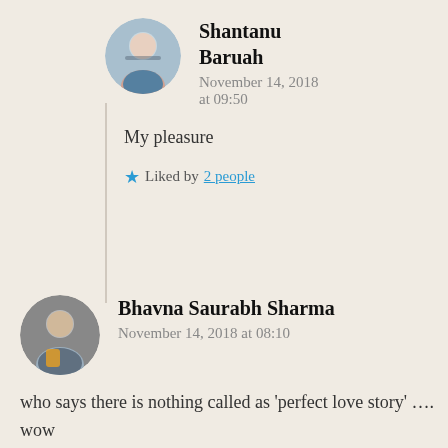[Figure (photo): Round avatar photo of Shantanu Baruah, a man in a blue shirt]
Shantanu Baruah
November 14, 2018 at 09:50
My pleasure
Liked by 2 people
[Figure (photo): Round avatar photo of Bhavna Saurabh Sharma, a couple]
Bhavna Saurabh Sharma
November 14, 2018 at 08:10
who says there is nothing called as ‘perfect love story’ …. wow
Liked by 3 people